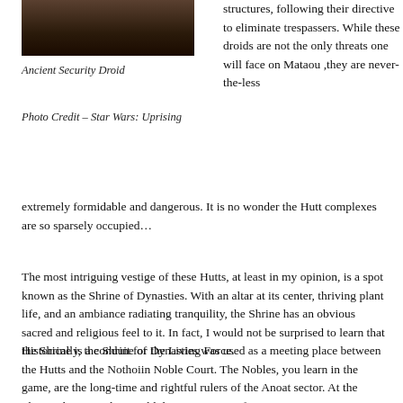[Figure (photo): A dark-toned image of an Ancient Security Droid from Star Wars: Uprising, partially visible at the top of the page.]
Ancient Security Droid
Photo Credit – Star Wars: Uprising
structures, following their directive to eliminate trespassers. While these droids are not the only threats one will face on Mataou ,they are never-the-less extremely formidable and dangerous. It is no wonder the Hutt complexes are so sparsely occupied…
The most intriguing vestige of these Hutts, at least in my opinion, is a spot known as the Shrine of Dynasties. With an altar at its center, thriving plant life, and an ambiance radiating tranquility, the Shrine has an obvious sacred and religious feel to it. In fact, I would not be surprised to learn that the Shrine is a conduit for the Living Force.
Historically, the Shrine of Dynasties was used as a meeting place between the Hutts and the Nothoiin Noble Court. The Nobles, you learn in the game, are the long-time and rightful rulers of the Anoat sector. At the Shrine, the two sides would discuss matters of peace